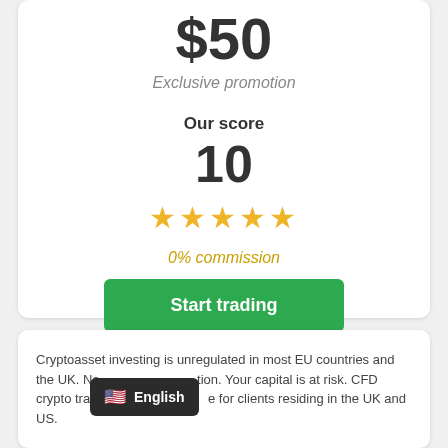$50
Exclusive promotion
Our score
10
★★★★★
0% commission
Start trading
Cryptoasset investing is unregulated in most EU countries and the UK. No protection. Your capital is at risk. CFD crypto trading is not available for clients residing in the UK and US.
English